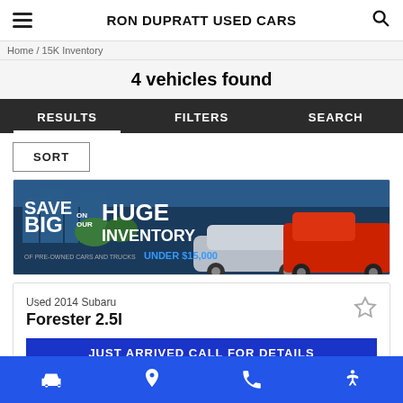RON DUPRATT USED CARS
Home / 15K Inventory
4 vehicles found
RESULTS   FILTERS   SEARCH
SORT
[Figure (photo): Advertisement banner: SAVE BIG ON OUR HUGE INVENTORY OF PRE-OWNED CARS AND TRUCKS UNDER $15,000, showing a silver sedan and a red pickup truck in front of a city skyline.]
Used 2014 Subaru Forester 2.5I
JUST ARRIVED CALL FOR DETAILS